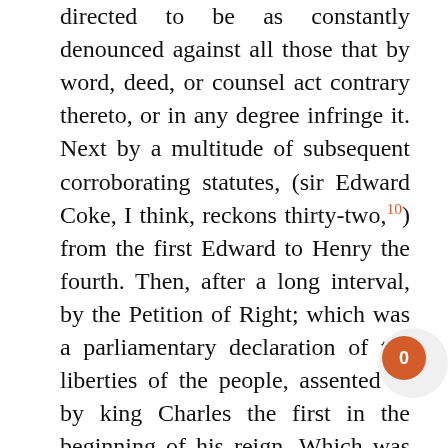directed to be as constantly denounced against all those that by word, deed, or counsel act contrary thereto, or in any degree infringe it. Next by a multitude of subsequent corroborating statutes, (sir Edward Coke, I think, reckons thirty-two,10) from the first Edward to Henry the fourth. Then, after a long interval, by the Petition of Right; which was a parliamentary declaration of the liberties of the people, assented to by king Charles the first in the beginning of his reign. Which was closely followed by the still more ample concessions made by that unhappy prince to his parliament, before the fatal rupture between them; and by the many salutary laws, particularly the habeas corpus act, passed under Charles the second. To these succeeded the Bill of Rights, a declaration delivered by the lords and commons to the...